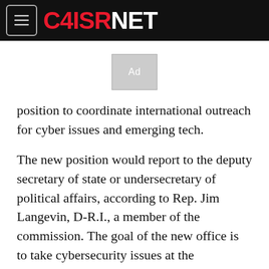C4ISRNET
[Figure (other): Ad placeholder box]
position to coordinate international outreach for cyber issues and emerging tech.
The new position would report to the deputy secretary of state or undersecretary of political affairs, according to Rep. Jim Langevin, D-R.I., a member of the commission. The goal of the new office is to take cybersecurity issues at the department and “raising its level of importance and stature ... to reinforce that